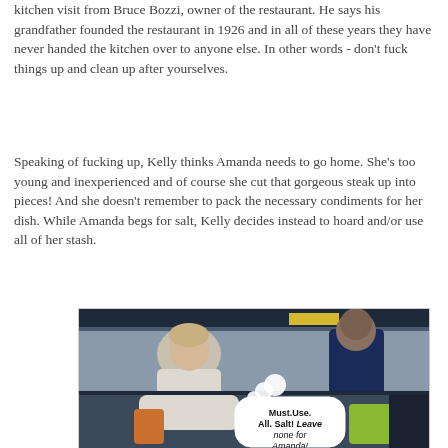kitchen visit from Bruce Bozzi, owner of the restaurant. He says his grandfather founded the restaurant in 1926 and in all of these years they have never handed the kitchen over to anyone else. In other words - don't fuck things up and clean up after yourselves.
Speaking of fucking up, Kelly thinks Amanda needs to go home. She's too young and inexperienced and of course she cut that gorgeous steak up into pieces! And she doesn't remember to pack the necessary condiments for her dish. While Amanda begs for salt, Kelly decides instead to hoard and/or use all of her stash.
[Figure (photo): Photo of people in a kitchen setting, with a speech bubble overlay saying 'Must.Use. All. Salt! Leave none for Amanda!']